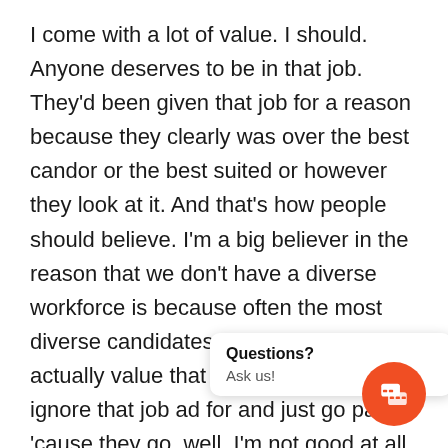I come with a lot of value. I should. Anyone deserves to be in that job. They'd been given that job for a reason because they clearly was over the best candor or the best suited or however they look at it. And that's how people should believe. I'm a big believer in the reason that we don't have a diverse workforce is because often the most diverse candidates don't believe they actually value that job and tend to ignore that job ad for and just go past 'cause they go, well, I'm not good at all these things. And often a white man will look at a couple of things and go, yeah I can do them two things out of the 10 so I'm good enough for the job. And often a woman will look at them 10 things and go all through the 10 and go, well, I can't do o[ne thing and they can do the other] nine so I'm not gonn[a apply. And that's where it's real] la[te for a la…ent to learn] [some] with the…
Questions?
Ask us!